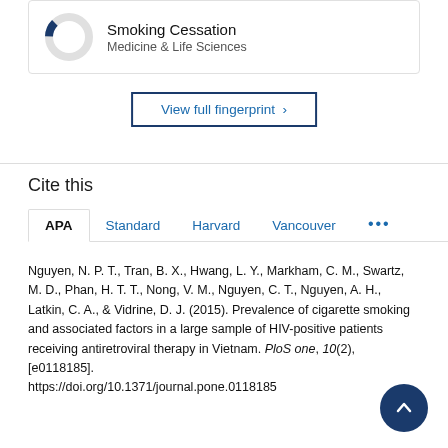[Figure (donut-chart): Small donut chart showing a small filled segment in dark blue, representing a partial percentage for Smoking Cessation in Medicine & Life Sciences]
Smoking Cessation
Medicine & Life Sciences
View full fingerprint >
Cite this
APA  Standard  Harvard  Vancouver  ...
Nguyen, N. P. T., Tran, B. X., Hwang, L. Y., Markham, C. M., Swartz, M. D., Phan, H. T. T., Nong, V. M., Nguyen, C. T., Nguyen, A. H., Latkin, C. A., & Vidrine, D. J. (2015). Prevalence of cigarette smoking and associated factors in a large sample of HIV-positive patients receiving antiretroviral therapy in Vietnam. PloS one, 10(2), [e0118185]. https://doi.org/10.1371/journal.pone.0118185